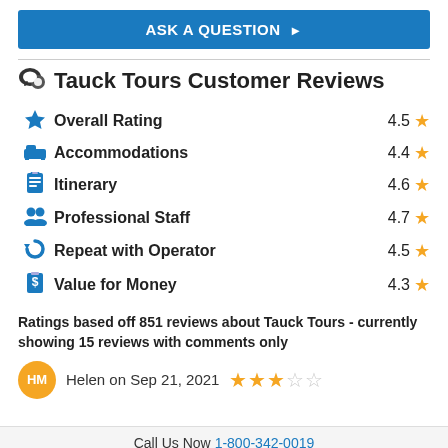ASK A QUESTION ▶
Tauck Tours Customer Reviews
Overall Rating 4.5
Accommodations 4.4
Itinerary 4.6
Professional Staff 4.7
Repeat with Operator 4.5
Value for Money 4.3
Ratings based off 851 reviews about Tauck Tours - currently showing 15 reviews with comments only
HM Helen on Sep 21, 2021 ★★★☆☆
Call Us Now 1-800-342-0019